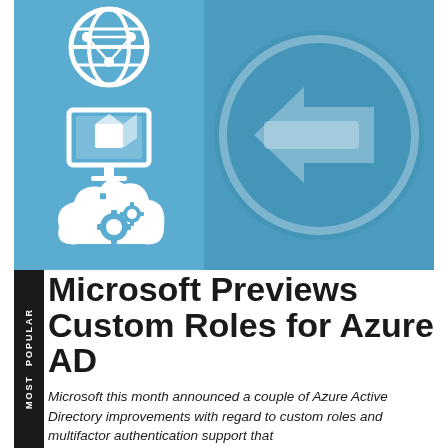[Figure (illustration): Header illustration with two panels: left light blue panel with three white icons (globe/network, monitor with cube, cloud with gears), right darker blue panel with a large back arrow (←) inside a circle.]
Microsoft Previews Custom Roles for Azure AD
Microsoft this month announced a couple of Azure Active Directory improvements with regard to custom roles and multifactor authentication support that